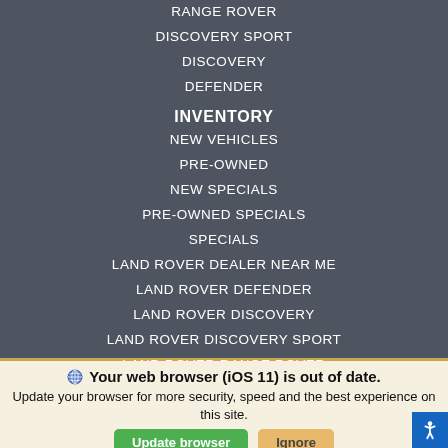RANGE ROVER
DISCOVERY SPORT
DISCOVERY
DEFENDER
INVENTORY
NEW VEHICLES
PRE-OWNED
NEW SPECIALS
PRE-OWNED SPECIALS
SPECIALS
LAND ROVER DEALER NEAR ME
LAND ROVER DEFENDER
LAND ROVER DISCOVERY
LAND ROVER DISCOVERY SPORT
LAND ROVER RANGE ROVER
SERVICE & PARTS
Your web browser (iOS 11) is out of date. Update your browser for more security, speed and the best experience on this site.